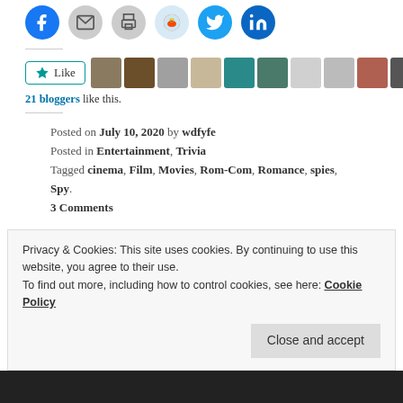[Figure (other): Social share icon buttons: Facebook, email, print, Reddit, Twitter, LinkedIn — circular icons]
[Figure (other): Like button with star icon and a row of blogger avatar thumbnails]
21 bloggers like this.
Posted on July 10, 2020 by wdfyfe
Posted in Entertainment, Trivia
Tagged cinema, Film, Movies, Rom-Com, Romance, spies, Spy.
3 Comments
Privacy & Cookies: This site uses cookies. By continuing to use this website, you agree to their use.
To find out more, including how to control cookies, see here: Cookie Policy
Close and accept